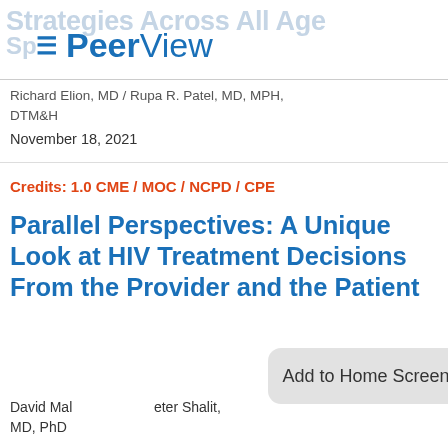Strategies Across All Age Sp...
≡ PeerView
Richard Elion, MD / Rupa R. Patel, MD, MPH, DTM&H
November 18, 2021
Credits: 1.0 CME / MOC / NCPD / CPE
Parallel Perspectives: A Unique Look at HIV Treatment Decisions From the Provider and the Patient
David Mal... eter Shalit, MD, PhD